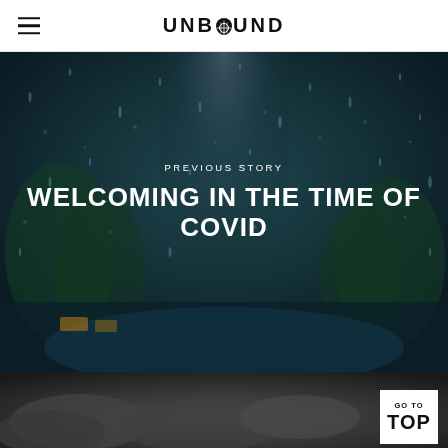UNBOUND
[Figure (photo): Dark teal/blue rainy window photo with blurred street and trees visible through raindrops on glass, used as background for 'Welcoming in the Time of COVID' story navigation.]
PREVIOUS STORY
WELCOMING IN THE TIME OF COVID
[Figure (photo): Dark grey/overcast sky photo strip at the bottom of the page with a white GO TO TOP button on the right side.]